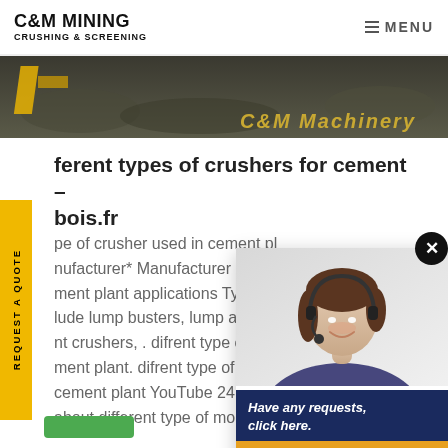C&M MINING CRUSHING & SCREENING | MENU
[Figure (photo): Hero image strip showing mining/quarry scene with yellow machinery and text 'C&M Machinery' in gold italic font]
ferent types of crushers for cement - bois.fr
pe of crusher used in cement pl nufacturer* Manufacturer of c ment plant applications Types lude lump busters, lump abradi nt crushers, . difrent type of cr ment plant. difrent type of crus cement plant YouTube 24 Aug 20 about different type of mobile cru
[Figure (photo): Chat/support popup with photo of smiling woman with headset. Bottom section shows navy blue background with text 'Have any requests, click here.' and orange Quotation button. Close X button in top-right corner.]